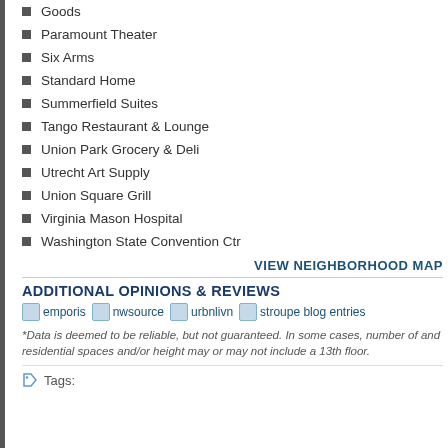Goods
Paramount Theater
Six Arms
Standard Home
Summerfield Suites
Tango Restaurant & Lounge
Union Park Grocery & Deli
Utrecht Art Supply
Union Square Grill
Virginia Mason Hospital
Washington State Convention Ctr
VIEW NEIGHBORHOOD MAP
ADDITIONAL OPINIONS & REVIEWS
[Figure (other): Row of icon badges: emporis, nwsource, urbnlivn, stroupe blog entries]
*Data is deemed to be reliable, but not guaranteed. In some cases, number of and residential spaces and/or height may or may not include a 13th floor.
Tags: